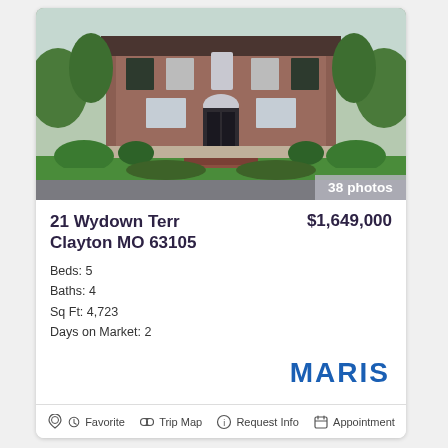[Figure (photo): Exterior photo of a large brick colonial-style home with manicured lawn, brick steps, and landscaping. Badge shows '38 photos'.]
21 Wydown Terr Clayton MO 63105
$1,649,000
Beds: 5
Baths: 4
Sq Ft: 4,723
Days on Market: 2
[Figure (logo): MARIS logo in bold blue text]
Favorite  Trip Map  Request Info  Appointment